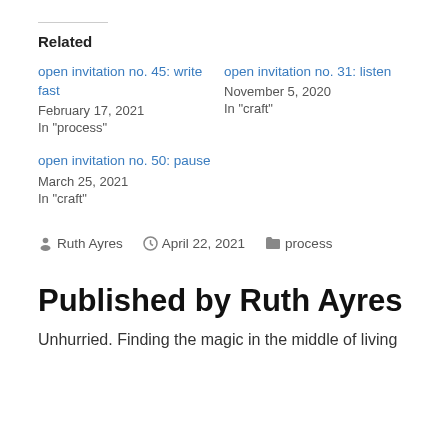Related
open invitation no. 45: write fast
February 17, 2021
In "process"
open invitation no. 31: listen
November 5, 2020
In "craft"
open invitation no. 50: pause
March 25, 2021
In "craft"
By Ruth Ayres  April 22, 2021  process
Published by Ruth Ayres
Unhurried. Finding the magic in the middle of living